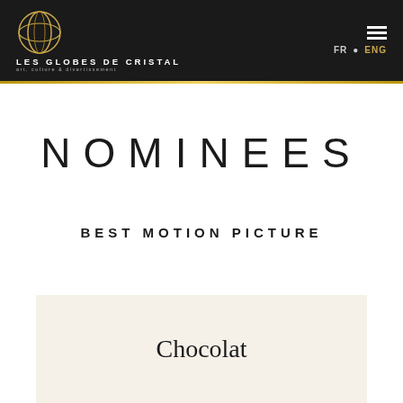LES GLOBES DE CRISTAL | art, culture & divertissement | FR • ENG
NOMINEES
BEST MOTION PICTURE
Chocolat